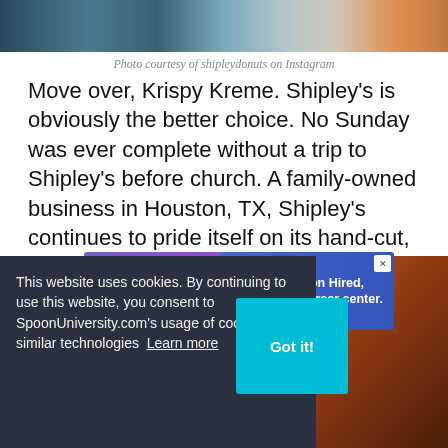[Figure (photo): Top banner photo of a donut shop interior, partially cropped]
Photo courtesy of shipleydonuts on Instagram
Move over, Krispy Kreme. Shipley's is obviously the better choice. No Sunday was ever complete without a trip to Shipley's before church. A family-owned business in Houston, TX, Shipley's continues to pride itself on its hand-cut, fresh donuts. Lawrence Shipley Sr., the namesake of Shipley Do-Nuts and a total badass,
[Figure (screenshot): Advertisement banner for Generation Hired virtual career center]
This website uses cookies. By continuing to use this website, you consent to SpoonUniversity.com's usage of cookies and similar technologies Learn more
[Figure (photo): Bottom partial photo showing donuts]